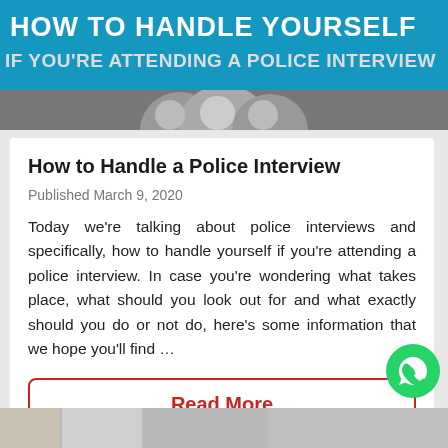[Figure (photo): Banner image with teal background showing text 'HOW TO HANDLE YOURSELF IF YOU'RE ATTENDING A POLICE INTERVIEW' with people in background]
How to Handle a Police Interview
Published March 9, 2020
Today we're talking about police interviews and specifically, how to handle yourself if you're attending a police interview. In case you're wondering what takes place, what should you look out for and what exactly should you do or not do, here's some information that we hope you'll find …
Read More
[Figure (photo): Bottom strip of another article image]